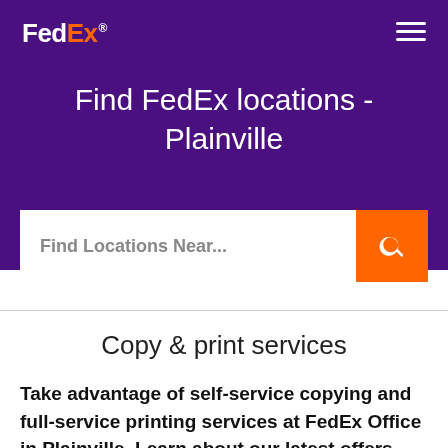[Figure (logo): FedEx logo in white and orange on purple background]
Find FedEx locations - Plainville
[Figure (other): Search bar with placeholder 'Find Locations Near...' and orange search button]
Copy & print services
Take advantage of self-service copying and full-service printing services at FedEx Office in Plainville. Learn about our latest offers and special deals at